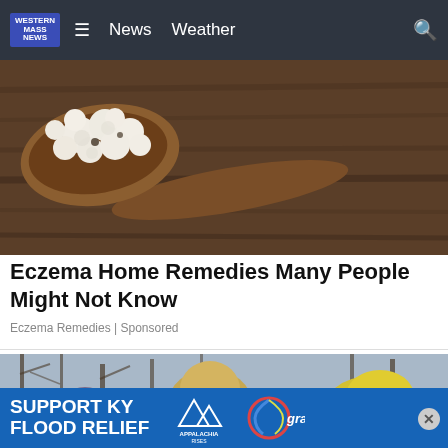WESTERN MASS NEWS — News  Weather
[Figure (photo): A wooden spoon with white cottage cheese or kefir grains on a rustic wooden surface]
Eczema Home Remedies Many People Might Not Know
Eczema Remedies | Sponsored
[Figure (photo): Three people wearing winter hats smiling outdoors in a wooded area]
[Figure (infographic): SUPPORT KY FLOOD RELIEF — Appalachia Rises — gray (TV network logo)]